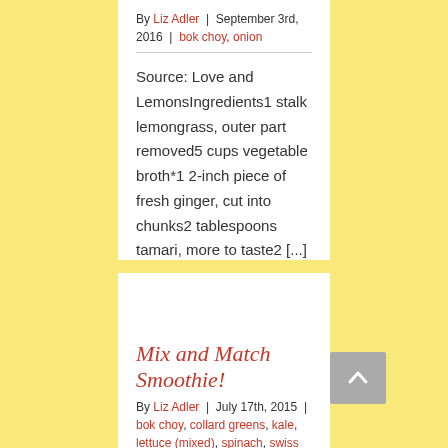By Liz Adler | September 3rd, 2016 | bok choy, onion
Source: Love and LemonsIngredients1 stalk lemongrass, outer part removed5 cups vegetable broth*1 2-inch piece of fresh ginger, cut into chunks2 tablespoons tamari, more to taste2 [...]
Read More   0
Mix and Match Smoothie!
By Liz Adler | July 17th, 2015 | bok choy, collard greens, kale, lettuce (mixed), spinach, swiss chard